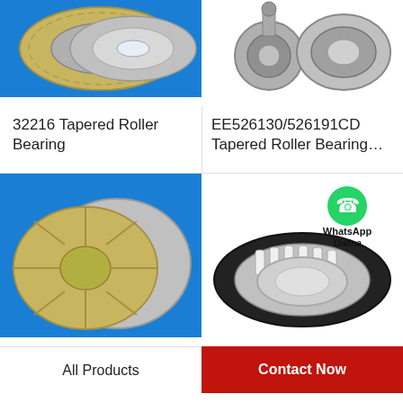[Figure (photo): 32216 Tapered Roller Bearing on blue background - two bearing rings shown]
[Figure (photo): EE526130/526191CD Tapered Roller Bearing - insert bearing components on white background]
32216 Tapered Roller Bearing
EE526130/526191CD Tapered Roller Bearing…
[Figure (photo): Tapered roller bearing thrust washer set on blue background]
[Figure (photo): Tapered roller bearing assembly on white background with WhatsApp Online overlay]
All Products
Contact Now